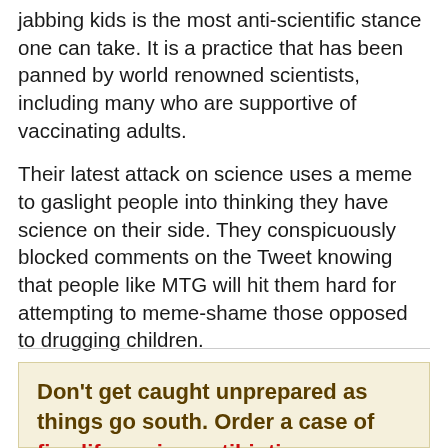jabbing kids is the most anti-scientific stance one can take. It is a practice that has been panned by world renowned scientists, including many who are supportive of vaccinating adults.
Their latest attack on science uses a meme to gaslight people into thinking they have science on their side. They conspicuously blocked comments on the Tweet knowing that people like MTG will hit them hard for attempting to meme-shame those opposed to drugging children.
Don’t get caught unprepared as things go south. Order a case of five life-saving antibiotics prescribed directly to